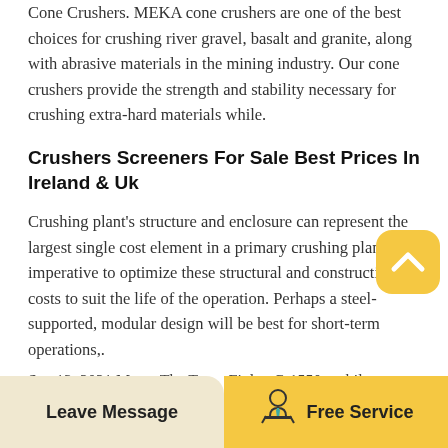Cone Crushers. MEKA cone crushers are one of the best choices for crushing river gravel, basalt and granite, along with abrasive materials in the mining industry. Our cone crushers provide the strength and stability necessary for crushing extra-hard materials while.
Crushers Screeners For Sale Best Prices In Ireland & Uk
Crushing plant's structure and enclosure can represent the largest single cost element in a primary crushing plant, it is imperative to optimize these structural and construction costs to suit the life of the operation. Perhaps a steel-supported, modular design will be best for short-term operations,.
Sep 13, 2021 Metso The Terex Finlay C-1550 mobile
[Figure (illustration): Yellow rounded square button with a white upward-pointing chevron/arrow icon (back-to-top button)]
Leave Message | Free Service